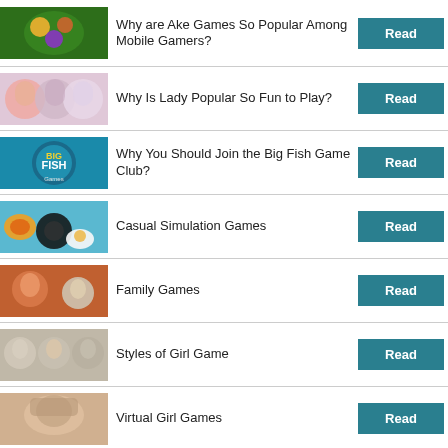Why are AKe Games So Popular Among Mobile Gamers?
Why Is Lady Popular So Fun to Play?
Why You Should Join the Big Fish Game Club?
Casual Simulation Games
Family Games
Styles of Girl Game
Virtual Girl Games
Why Are Video Slot Games So Popular?